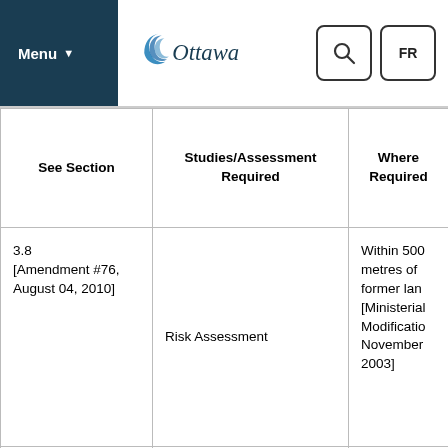Menu | Ottawa | Search | FR
| See Section | Studies/Assessment Required | Where Required |
| --- | --- | --- |
| 3.8 [Amendment #76, August 04, 2010] | Risk Assessment | Within 500 metres of former lan [Ministerial Modificatio November 2003] |
| 4.8.1 | Review criteria | Flood plain d te S e k |